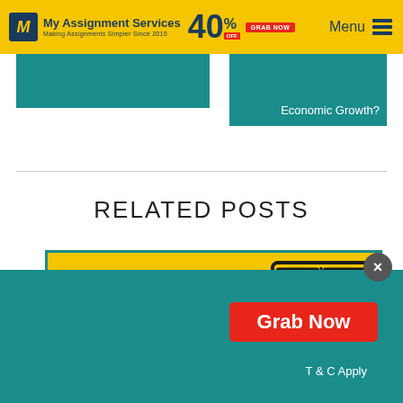My Assignment Services — Making Assignments Simpler Since 2010 | 40% OFF | Menu
[Figure (screenshot): Teal card strip on left with no visible text]
Economic Growth?
RELATED POSTS
[Figure (illustration): Yellow card with teal border showing 'HOW TO WRITE A BOOK REPORT OUTLINE?' with book icon illustration]
Grab Now
T & C Apply